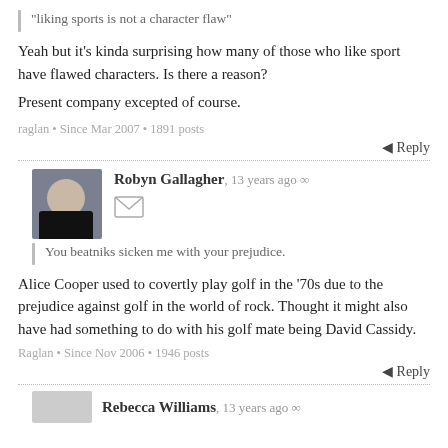“liking sports is not a character flaw”
Yeah but it's kinda surprising how many of those who like sport have flawed characters. Is there a reason?
Present company excepted of course.
raglan • Since Mar 2007 • 1891 posts
Reply
Robyn Gallagher, 13 years ago
You beatniks sicken me with your prejudice.
Alice Cooper used to covertly play golf in the ’70s due to the prejudice against golf in the world of rock. Thought it might also have had something to do with his golf mate being David Cassidy.
Raglan • Since Nov 2006 • 1946 posts
Reply
Rebecca Williams, 13 years ago